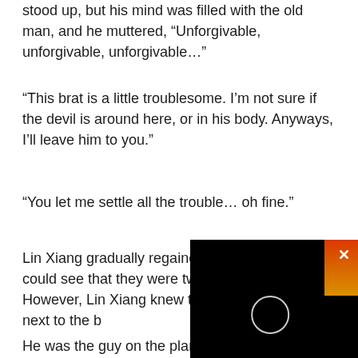stood up, but his mind was filled with the old man, and he muttered, “Unforgivable, unforgivable, unforgivable…”
“This brat is a little troublesome. I’m not sure if the devil is around here, or in his body. Anyways, I’ll leave him to you.”
“You let me settle all the trouble… oh fine.”
Lin Xiang gradually regained his focus and he could see that they were two unfamiliar faces. However, Lin Xiang knew the person standing next to the b—
He was the guy on the plane that day,—
[Figure (screenshot): Black video overlay with a white X close button in the top right, a circular loading/play indicator in the center, and a partial fire/flame image visible in the top right corner of the overlay.]